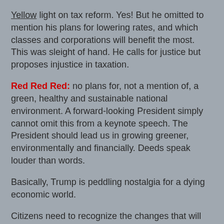Yellow light on tax reform. Yes! But he omitted to mention his plans for lowering rates, and which classes and corporations will benefit the most. This was sleight of hand. He calls for justice but proposes injustice in taxation.
Red Red Red: no plans for, not a mention of, a green, healthy and sustainable national environment. A forward-looking President simply cannot omit this from a keynote speech. The President should lead us in growing greener, environmentally and financially. Deeds speak louder than words.
Basically, Trump is peddling nostalgia for a dying economic world.
Citizens need to recognize the changes that will occur with or without Trump's programs and prepare his nation for the challenge of their arrival.
Trump quoted a challenging Bible verse. Great. But here's the preacher-ethicist in me: there's one huge difference